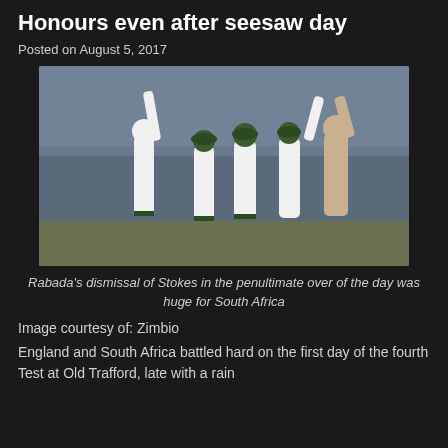Honours even after seesaw day
Posted on August 5, 2017
[Figure (photo): South Africa cricket players celebrating a wicket, high-fiving each other on the field. Players wearing white cricket uniforms with green and gold trim. Kagiso Rabada visible on the right.]
Rabada's dismissal of Stokes in the penultimate over of the day was huge for South Africa
Image courtesy of: Zimbio
England and South Africa battled hard on the first day of the fourth Test at Old Trafford, late with a rain...